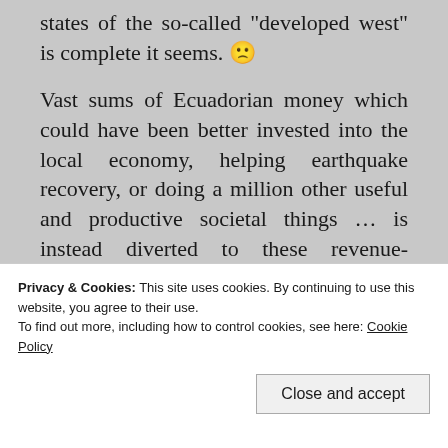states of the so-called developed west is complete it seems. 🙁
Vast sums of Ecuadorian money which could have been better invested into the local economy, helping earthquake recovery, or doing a million other useful and productive societal things … is instead diverted to these revenue-generating causes … whereby the state's job is to drain its citizens of the little cash they've still managed to retain in the face of this
Privacy & Cookies: This site uses cookies. By continuing to use this website, you agree to their use.
To find out more, including how to control cookies, see here: Cookie Policy
Close and accept
results" … in excess of $200 …